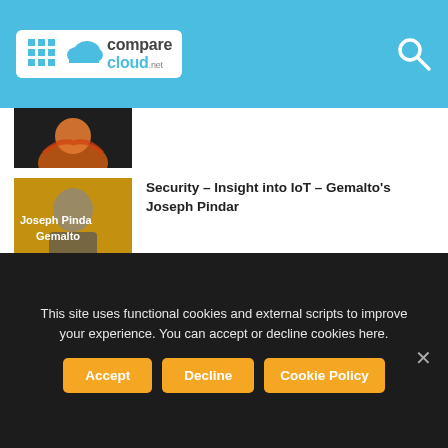comparecloud.net
[Figure (screenshot): Partial thumbnail of an article, dark background with orange/red illustration]
[Figure (photo): Joseph Pindar, Gemalto, #IoT thumbnail on gold/amber background]
Security – Insight into IoT – Gemalto's Joseph Pindar
[Figure (photo): Dell EMC - The evolution of Dell Technologies, Peter Barnes, Dell EMC thumbnail]
A Complete Overview of the Dell Technologies Stack
This site uses functional cookies and external scripts to improve your experience. You can accept or decline cookies here.